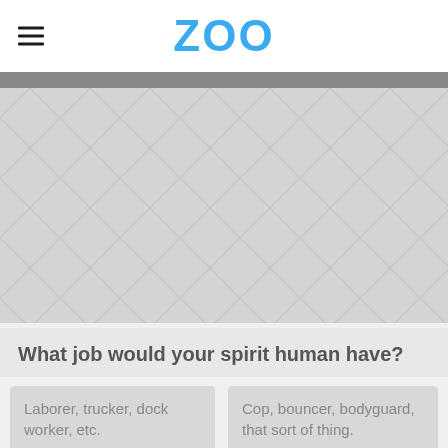ZOO
[Figure (illustration): Placeholder hero image area with light gray background and chevron/herringbone pattern texture]
What job would your spirit human have?
Laborer, trucker, dock worker, etc.
Cop, bouncer, bodyguard, that sort of thing.